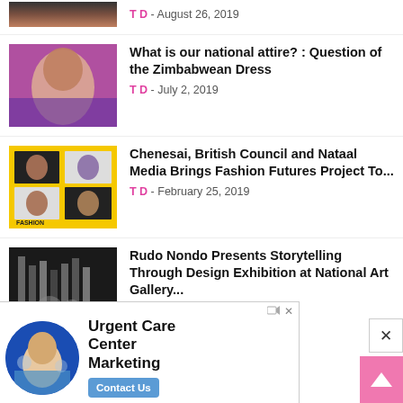[Figure (photo): Partial cropped image of a smiling woman at top]
T D - August 26, 2019
[Figure (photo): Woman smiling wearing headpiece at an event with pink/purple lighting]
What is our national attire? : Question of the Zimbabwean Dress
T D - July 2, 2019
[Figure (photo): Yellow poster showing Fashion Futures project with multiple women photographed in grid]
Chenesai, British Council and Nataal Media Brings Fashion Futures Project To...
T D - February 25, 2019
[Figure (photo): Black and white photo of people at National Art Gallery exhibition]
Rudo Nondo Presents Storytelling Through Design Exhibition at National Art Gallery...
[Figure (advertisement): Ad for Urgent Care Center Marketing by GMR Web Team with a woman in blue circle and Contact Us button]